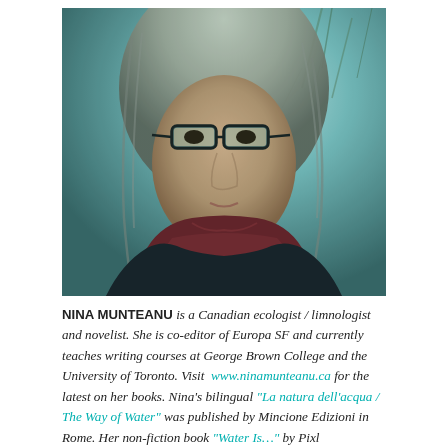[Figure (photo): Portrait photo of Nina Munteanu, a woman with gray hair and black-rimmed glasses, wearing a dark jacket and dark red/maroon scarf, photographed outdoors with bare trees in the background. The photo has a teal/cyan color toning.]
NINA MUNTEANU is a Canadian ecologist / limnologist and novelist. She is co-editor of Europa SF and currently teaches writing courses at George Brown College and the University of Toronto. Visit www.ninamunteanu.ca for the latest on her books. Nina's bilingual "La natura dell'acqua / The Way of Water" was published by Mincione Edizioni in Rome. Her non-fiction book "Water Is..." by Pixl Press(Vancouver) was selected by Margaret Atwood in the New York Times 'Year